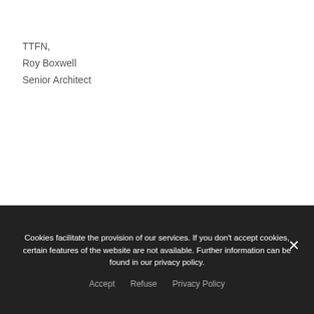TTFN,
Roy Boxwell
Senior Architect
NEWS FROM THE LABS
Cookies facilitate the provision of our services. If you don't accept cookies, certain features of the website are not available. Further information can be found in our privacy policy.
Accept   Refuse   Privacy Policy